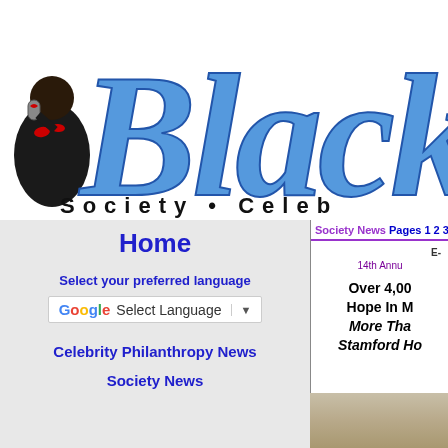[Figure (logo): Black Society celebrity website logo — large blue cursive 'Black' text with a figure holding a microphone on the left, and 'Society • Celeb' text in black spaced letters below]
Home
Select your preferred language
[Figure (screenshot): Google Translate language selector widget with G logo and dropdown arrow]
Celebrity Philanthropy News
Society News
Society News Pages 1 2 3
E-
14th Annu
Over 4,00 Hope In M More Tha Stamford Ho
[Figure (photo): Partial photo at bottom of right column, appears to show an event or venue]